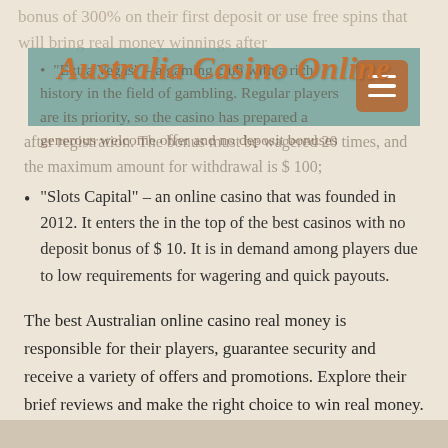Australia Casino Online
after registration. The bonus must be wagered 20 times, and the maximum amount for withdrawal is $ 100;
“Slots Capital” – an online casino that was founded in 2012. It enters the in the top of the best casinos with no deposit bonus of $ 10. It is in demand among players due to low requirements for wagering and quick payouts.
The best Australian online casino real money is responsible for their players, guarantee security and receive a variety of offers and promotions. Explore their brief reviews and make the right choice to win real money.